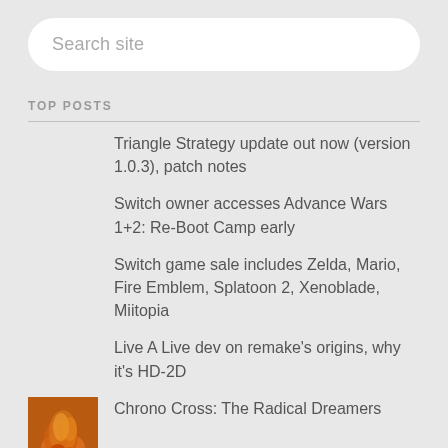Search site
TOP POSTS
Triangle Strategy update out now (version 1.0.3), patch notes
Switch owner accesses Advance Wars 1+2: Re-Boot Camp early
Switch game sale includes Zelda, Mario, Fire Emblem, Splatoon 2, Xenoblade, Miitopia
Live A Live dev on remake's origins, why it's HD-2D
Chrono Cross: The Radical Dreamers